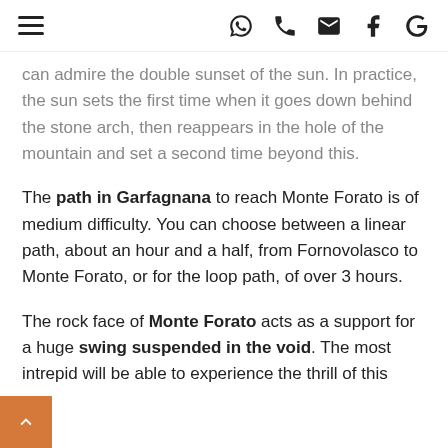≡  [WhatsApp] [Phone] [Email] [Facebook] G
can admire the double sunset of the sun. In practice, the sun sets the first time when it goes down behind the stone arch, then reappears in the hole of the mountain and set a second time beyond this.
The path in Garfagnana to reach Monte Forato is of medium difficulty. You can choose between a linear path, about an hour and a half, from Fornovolasco to Monte Forato, or for the loop path, of over 3 hours.
The rock face of Monte Forato acts as a support for a huge swing suspended in the void. The most intrepid will be able to experience the thrill of this